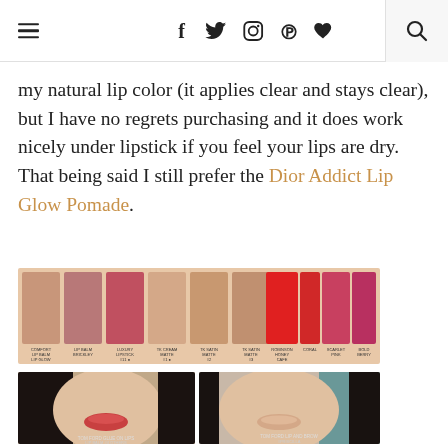Navigation header with hamburger menu, social icons (f, twitter, instagram, pinterest, heart), and search
my natural lip color (it applies clear and stays clear), but I have no regrets purchasing and it does work nicely under lipstick if you feel your lips are dry. That being said I still prefer the Dior Addict Lip Glow Pomade.
[Figure (photo): Lip product swatches on skin showing multiple shades from nude/pink to bright red and deep berry, with small text labels beneath each swatch]
[Figure (photo): Two side-by-side photos of a woman's lips and chin area. Left photo shows coral/red lip color labeled TOM FORD GLUE ON LIPS LIP BALM #OTHERS. Right photo shows nude/natural lip look labeled TOM FORD LIP AND BROW #PRISCILLA.]